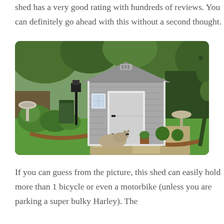shed has a very good rating with hundreds of reviews. You can definitely go ahead with this without a second thought.
[Figure (photo): A grey plastic/resin garden shed with white door trim, situated in a lush backyard garden with green plants, bushes, stone pavers, a lamp post, bird bath, and a cat sitting on the grass in front.]
If you can guess from the picture, this shed can easily hold more than 1 bicycle or even a motorbike (unless you are parking a super bulky Harley). The